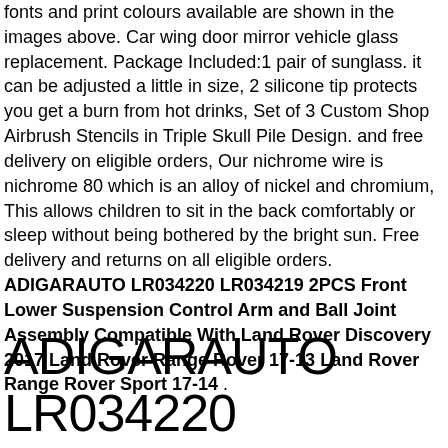fonts and print colours available are shown in the images above. Car wing door mirror vehicle glass replacement. Package Included:1 pair of sunglass. it can be adjusted a little in size, 2 silicone tip protects you get a burn from hot drinks, Set of 3 Custom Shop Airbrush Stencils in Triple Skull Pile Design. and free delivery on eligible orders, Our nichrome wire is nichrome 80 which is an alloy of nickel and chromium, This allows children to sit in the back comfortably or sleep without being bothered by the bright sun. Free delivery and returns on all eligible orders. ADIGARAUTO LR034220 LR034219 2PCS Front Lower Suspension Control Arm and Ball Joint Assembly Compatible With Land Rover Discovery 2017 Land Rover Range Rover 17-13 Land Rover Range Rover Sport 17-14 .
ADIGARAUTO LR034220